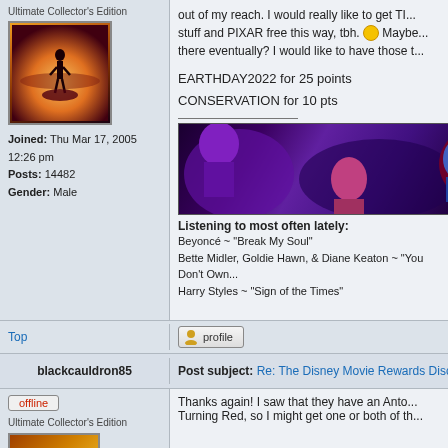[Figure (photo): User avatar: stylized silhouette against orange sunset sky]
Joined: Thu Mar 17, 2005 12:26 pm
Posts: 14482
Gender: Male
EARTHDAY2022 for 25 points
CONSERVATION for 10 pts
[Figure (illustration): Animated banner with purple/red fantasy characters]
Listening to most often lately:
Beyoncé ~ "Break My Soul"
Bette Midler, Goldie Hawn, & Diane Keaton ~ "You Don't Own..."
Harry Styles ~ "Sign of the Times"
Top
profile button
Post subject: Re: The Disney Movie Rewards Discussion...
offline
Ultimate Collector's Edition
blackcauldron85
Thanks again! I saw that they have an Anto... Turning Red, so I might get one or both of th...